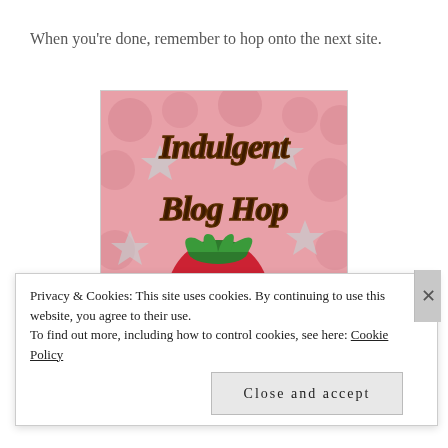When you're done, remember to hop onto the next site.
[Figure (illustration): Indulgent Blog Hop badge image with strawberry and chocolate text on pink background]
Privacy & Cookies: This site uses cookies. By continuing to use this website, you agree to their use.
To find out more, including how to control cookies, see here: Cookie Policy
Close and accept